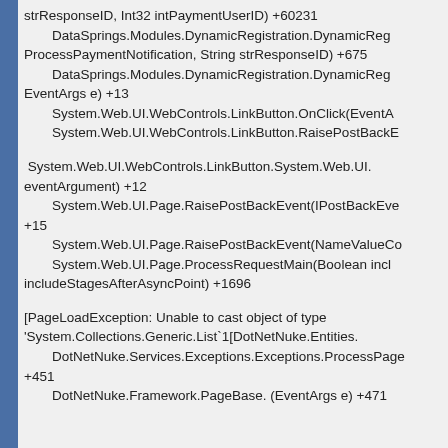strResponseID, Int32 intPaymentUserID) +60231
    DataSprings.Modules.DynamicRegistration.DynamicReg...
ProcessPaymentNotification, String strResponseID) +6752
    DataSprings.Modules.DynamicRegistration.DynamicReg...
EventArgs e) +13
    System.Web.UI.WebControls.LinkButton.OnClick(EventA...
    System.Web.UI.WebControls.LinkButton.RaisePostBack...

 System.Web.UI.WebControls.LinkButton.System.Web.UI...
eventArgument) +12
    System.Web.UI.Page.RaisePostBackEvent(IPostBackEv... +15
    System.Web.UI.Page.RaisePostBackEvent(NameValue...
    System.Web.UI.Page.ProcessRequestMain(Boolean in...
includeStagesAfterAsyncPoint) +1696

[PageLoadException: Unable to cast object of type 'System.Collections.Generic.List`1[DotNetNuke.Entities...
    DotNetNuke.Services.Exceptions.Exceptions.Process... +451
    DotNetNuke.Framework.PageBase. (EventArgs e) +471